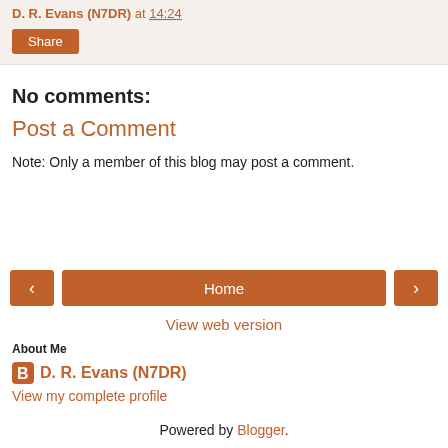D. R. Evans (N7DR) at 14:24
Share
No comments:
Post a Comment
Note: Only a member of this blog may post a comment.
< Home >
View web version
About Me
D. R. Evans (N7DR)
View my complete profile
Powered by Blogger.